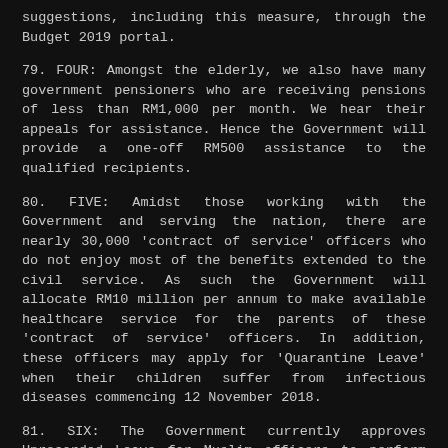suggestions, including this measure, through the Budget 2019 portal.
79. FOUR: Amongst the elderly, we also have many government pensioners who are receiving pensions of less than RM1,000 per month. We hear their appeals for assistance. Hence the Government will provide a one-off RM500 assistance to the qualified recipients.
80. FIVE: Amidst those working with the Government and serving the nation, there are nearly 30,000 'contract of service' officers who do not enjoy most of the benefits extended to the civil service. As such the Government will allocate RM10 million per annum to make available healthcare service for the parents of these 'contract of service' officers. In addition, these officers may apply for 'Quarantine Leave' when their children suffer from infectious diseases commencing 12 November 2018.
81. SIX: The Government currently approves Unrecorded Leave for Muslim officers to perform their umrah for up to 7 days for the entire duration of service. To appreciate the fact that we have 201,600 non-Muslims in the service, the Government has agreed to similarly allow for up to 7 days of Unrecorded Leave throughout the duration of service for the purposes of performing their